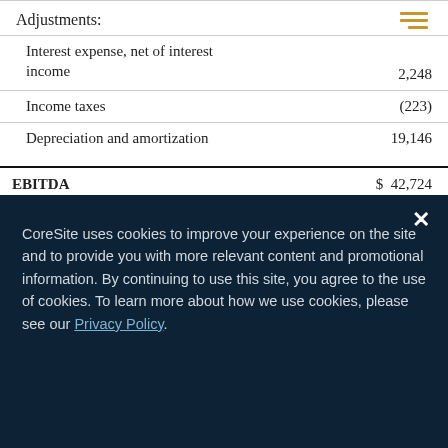|  |  |
| --- | --- |
| Adjustments: |  |
| Interest expense, net of interest income | 2,248 |
| Income taxes | (223) |
| Depreciation and amortization | 19,146 |
| EBITDA | $ 42,724 |
CoreSite uses cookies to improve your experience on the site and to provide you with more relevant content and promotional information. By continuing to use this site, you agree to the use of cookies. To learn more about how we use cookies, please see our Privacy Policy.